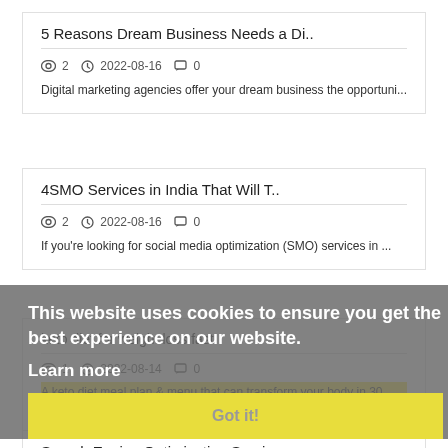5 Reasons Dream Business Needs a Di..
👁 2  🕐 2022-08-16  💬 0
Digital marketing agencies offer your dream business the opportuni...
4SMO Services in India That Will T..
👁 2  🕐 2022-08-16  💬 0
If you're looking for social media optimization (SMO) services in ...
keto diet for weight loss fast..
👁 1  🕐 2022-08-14  💬 0
A keto diet meal plan & menu that can transform your body in 30 da...
This website uses cookies to ensure you get the best experience on our website.
Learn more
Got it!
Search Engine Optimization Services..